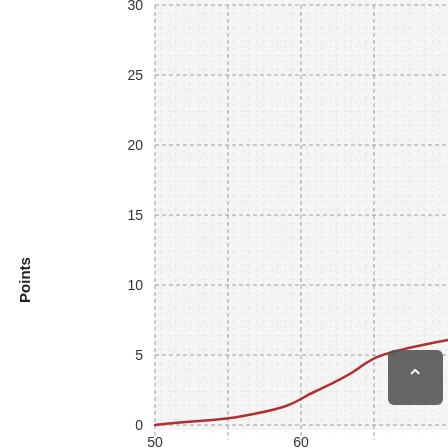[Figure (continuous-plot): Partial view of a line chart showing 'Points' on the y-axis (0 to 30+ visible) and x-axis values starting at 50 and 60. A red/dark-red curved line rises slowly from near 0 at x=50, curving upward toward the right. The chart has dashed gridlines on a light gray grid background.]